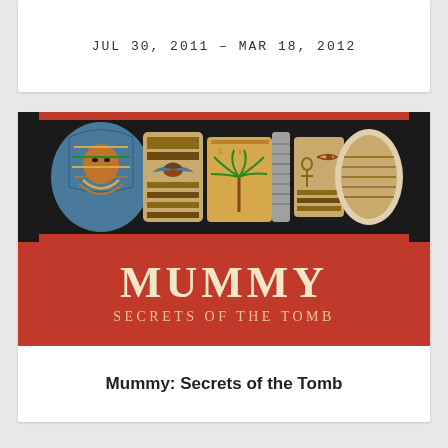JUL 30, 2011 – MAR 18, 2012
[Figure (photo): Exhibition promotional image for 'Mummy: Secrets of the Tomb' showing a decorated Egyptian sarcophagus/mummy case with colorful hieroglyphic paintings on a black background, above a red banner with the exhibition title]
Mummy: Secrets of the Tomb